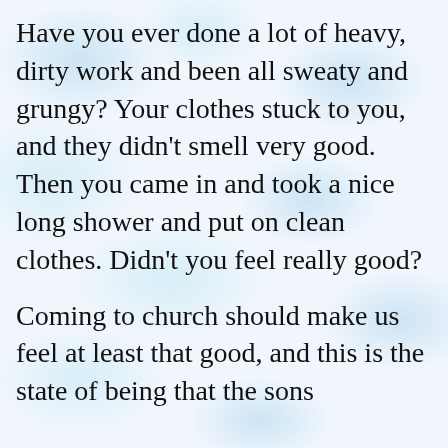Have you ever done a lot of heavy, dirty work and been all sweaty and grungy? Your clothes stuck to you, and they didn't smell very good. Then you came in and took a nice long shower and put on clean clothes. Didn't you feel really good?
Coming to church should make us feel at least that good, and this is the state of being that the sons